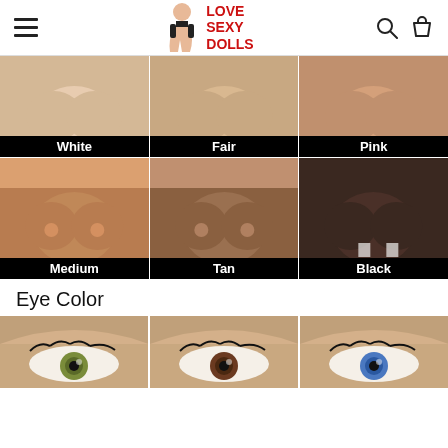Love Sexy Dolls — navigation header
[Figure (photo): Skin tone options grid: White, Fair, Pink, Medium, Tan, Black]
Eye Color
[Figure (photo): Eye color options: green/hazel, brown, blue]